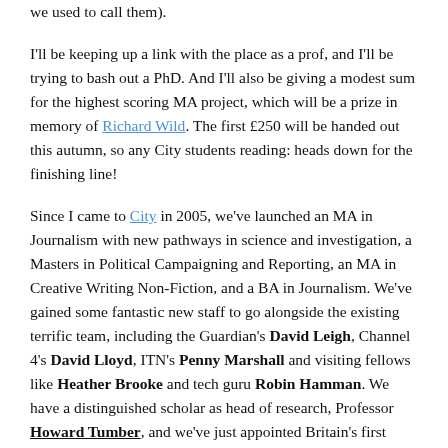we used to call them).
I'll be keeping up a link with the place as a prof, and I'll be trying to bash out a PhD. And I'll also be giving a modest sum for the highest scoring MA project, which will be a prize in memory of Richard Wild. The first £250 will be handed out this autumn, so any City students reading: heads down for the finishing line!
Since I came to City in 2005, we've launched an MA in Journalism with new pathways in science and investigation, a Masters in Political Campaigning and Reporting, an MA in Creative Writing Non-Fiction, and a BA in Journalism. We've gained some fantastic new staff to go alongside the existing terrific team, including the Guardian's David Leigh, Channel 4's David Lloyd, ITN's Penny Marshall and visiting fellows like Heather Brooke and tech guru Robin Hamman. We have a distinguished scholar as head of research, Professor Howard Tumber, and we've just appointed Britain's first